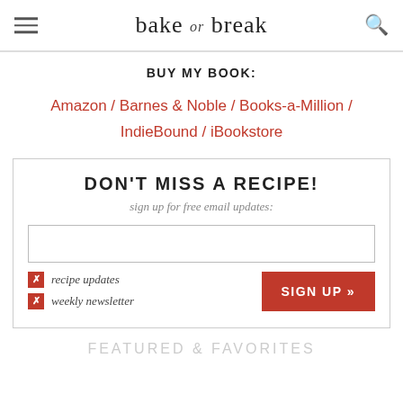bake or break
BUY MY BOOK:
Amazon / Barnes & Noble / Books-a-Million / IndieBound / iBookstore
DON'T MISS A RECIPE!
sign up for free email updates:
recipe updates
weekly newsletter
FEATURED & FAVORITES